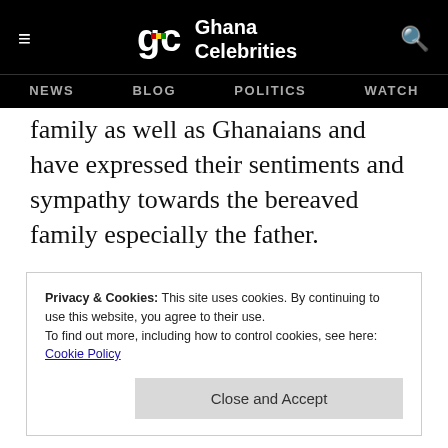Ghana Celebrities — NEWS  BLOG  POLITICS  WATCH
family as well as Ghanaians and have expressed their sentiments and sympathy towards the bereaved family especially the father.
Privacy & Cookies: This site uses cookies. By continuing to use this website, you agree to their use.
To find out more, including how to control cookies, see here:
Cookie Policy
Close and Accept